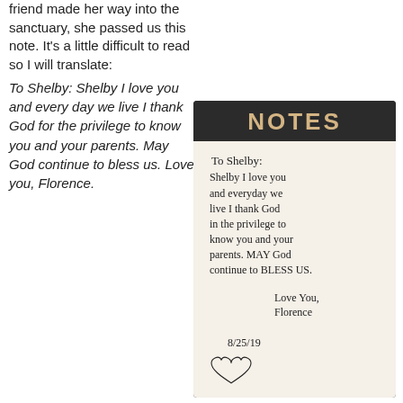friend made her way into the sanctuary, she passed us this note.  It's a little difficult to read so I will translate:
To Shelby:  Shelby I love you and every day we live I thank God for the privilege to know you and your parents.  May God continue to bless us.  Love you, Florence.
[Figure (photo): A photo of a handwritten note on a notepad with a dark header reading 'NOTES'. The note reads: 'To Shelby: Shelby I love you and everyday we live I thank God in the privilege to know you and your parents. MAY God continue to BLESS US. Love You, Florence. 8/25/19' with a drawn heart.]